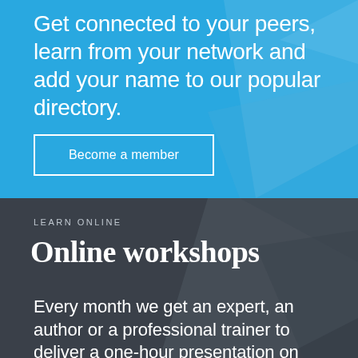Get connected to your peers, learn from your network and add your name to our popular directory.
Become a member
LEARN ONLINE
Online workshops
Every month we get an expert, an author or a professional trainer to deliver a one-hour presentation on copywriting, marketing or digital